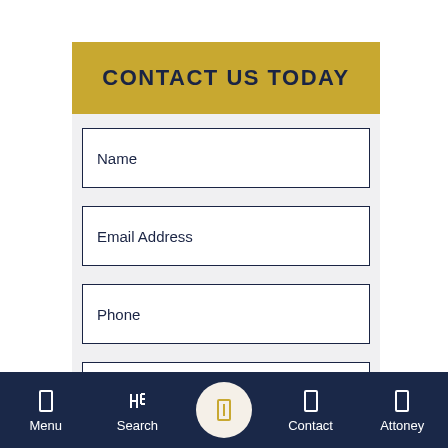CONTACT US TODAY
Name
Email Address
Phone
Brief description of your legal issue....
Menu  Search  Contact  Attoney